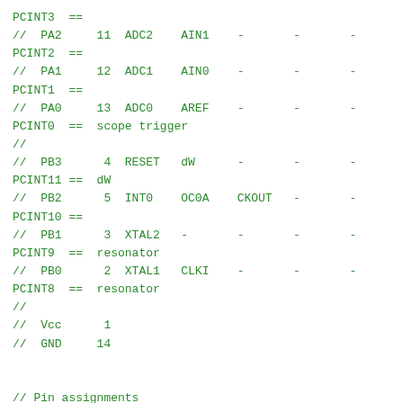PCINT3  ==
// PA2     11  ADC2    AIN1    -       -       -
PCINT2  ==
// PA1     12  ADC1    AIN0    -       -       -
PCINT1  ==
// PA0     13  ADC0    AREF    -       -       -
PCINT0  ==  scope trigger
//
// PB3      4  RESET   dW      -       -       -
PCINT11 ==  dW
// PB2      5  INT0    OC0A    CKOUT   -       -
PCINT10 ==
// PB1      3  XTAL2   -       -       -       -
PCINT9  ==  resonator
// PB0      2  XTAL1   CLKI    -       -       -
PCINT8  ==  resonator
//
// Vcc      1
// GND     14


// Pin assignments